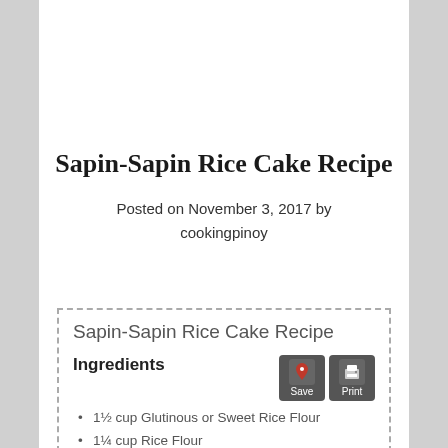Sapin-Sapin Rice Cake Recipe
Posted on November 3, 2017 by cookingpinoy
Sapin-Sapin Rice Cake Recipe
Ingredients
1½ cup Glutinous or Sweet Rice Flour
1¼ cup Rice Flour
1¾ cup Sugar
3 cups Coconut Milk
¼ cup Coconut Cream